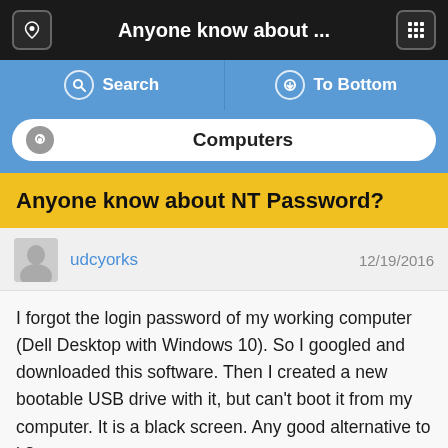Anyone know about ...
Search   To Bottom
Computers
Anyone know about NT Password?
udcyorks   12/19/2016
I forgot the login password of my working computer (Dell Desktop with Windows 10). So I googled and downloaded this software. Then I created a new bootable USB drive with it, but can't boot it from my computer. It is a black screen. Any good alternative to it?
arachnaut   12/19/2016